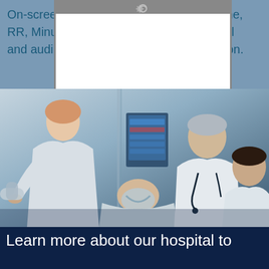On-screen ... volume, RR, Minut... s visual and audib... ormation.
[Figure (photo): Medical scene showing a nurse and two doctors attending to a patient on a ventilator mask in a clinical setting with medical monitoring equipment visible]
Learn more about our hospital to